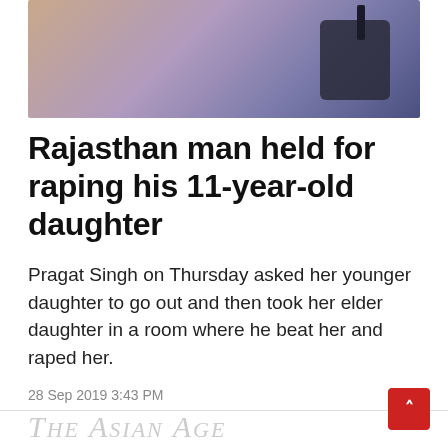[Figure (photo): Top portion of a news article page showing a partial photo with dark/blue-purple gradient tones, appears to show a bag or accessory item]
Rajasthan man held for raping his 11-year-old daughter
Pragat Singh on Thursday asked her younger daughter to go out and then took her elder daughter in a room where he beat her and raped her.
28 Sep 2019 3:43 PM
[Figure (logo): The Asian Age newspaper logo watermark text partially visible at bottom]